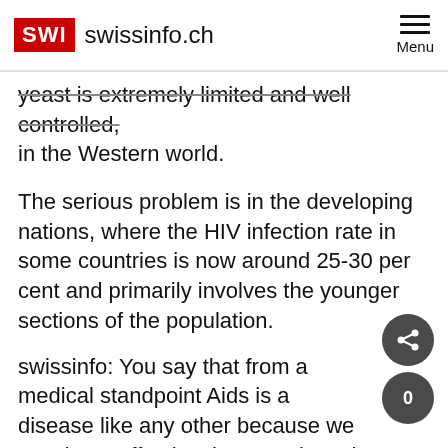SWI swissinfo.ch
yeast is extremely limited and well controlled, in the Western world.
The serious problem is in the developing nations, where the HIV infection rate in some countries is now around 25-30 per cent and primarily involves the younger sections of the population.
swissinfo: You say that from a medical standpoint Aids is a disease like any other because we now have effective therapeutic tools to deal with it. What about the side effects and costs of these treatments?
G.P.: The anti-Aids drugs themselves are